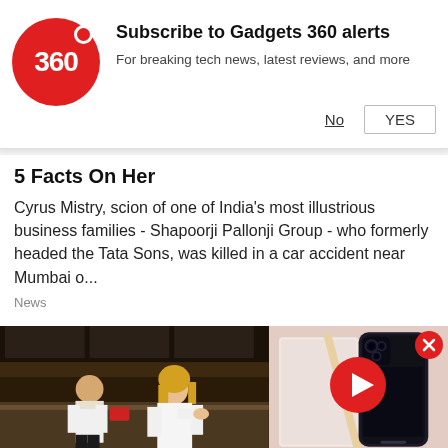[Figure (screenshot): Gadgets 360 logo — red circle with white '360' text and a red dot at top right]
Subscribe to Gadgets 360 alerts
For breaking tech news, latest reviews, and more
No   YES
5 Facts On Her
Cyrus Mistry, scion of one of India's most illustrious business families - Shapoorji Pallonji Group - who formerly headed the Tata Sons, was killed in a car accident near Mumbai o...
News
[Figure (screenshot): Two-panel media section: left shows a video thumbnail of two people at a food counter (man in white shirt, woman in white dress); right shows a smartphone product video thumbnail with a red play button overlay and a close (X) button in the top right corner.]